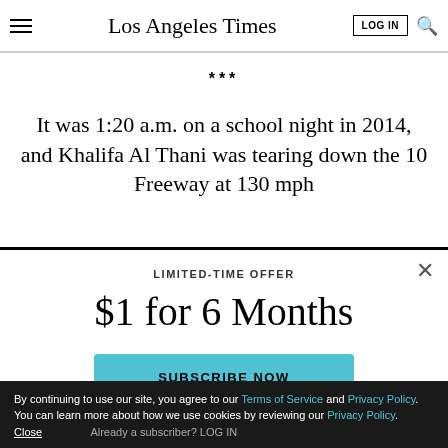Los Angeles Times
***
It was 1:20 a.m. on a school night in 2014, and Khalifa Al Thani was tearing down the 10 Freeway at 130 mph
LIMITED-TIME OFFER
$1 for 6 Months
SUBSCRIBE NOW
By continuing to use our site, you agree to our Terms of Service and Privacy Policy. You can learn more about how we use cookies by reviewing our Privacy Policy. Close Already a subscriber? LOG IN